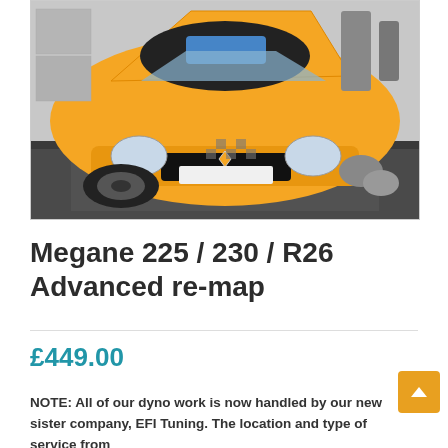[Figure (photo): A yellow Renault Megane RS sports car with hood open on a rolling road dynamometer (dyno) in a workshop. The car faces the camera showing its front bumper and engine bay. Dyno rollers and equipment visible in background.]
Megane 225 / 230 / R26 Advanced re-map
£449.00
NOTE: All of our dyno work is now handled by our new sister company, EFI Tuning. The location and type of service from